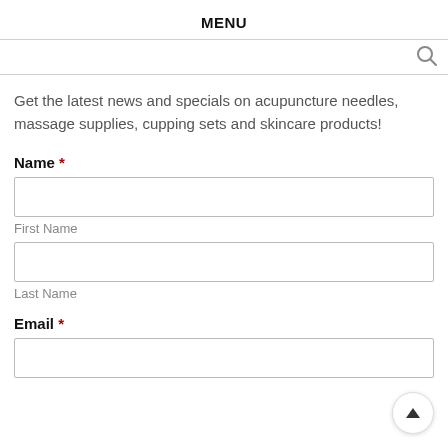MENU
Get the latest news and specials on acupuncture needles, massage supplies, cupping sets and skincare products!
Name *
First Name
Last Name
Email *